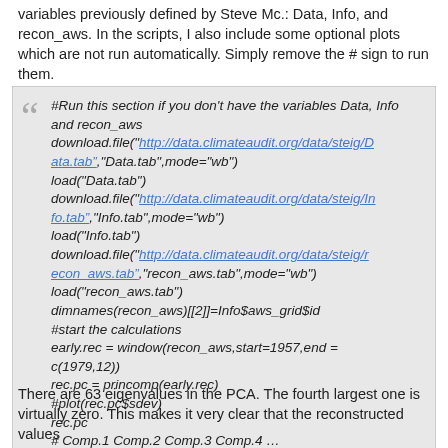variables previously defined by Steve Mc.: Data, Info, and recon_aws. In the scripts, I also include some optional plots which are not run automatically. Simply remove the # sign to run them.
#Run this section if you don't have the variables Data, Info and recon_aws
download.file("http://data.climateaudit.org/data/steig/Data.tab&#8221;,"Data.tab",mode="wb")
load("Data.tab")
download.file("http://data.climateaudit.org/data/steig/Info.tab&#8221;,"Info.tab",mode="wb")
load("Info.tab")
download.file("http://data.climateaudit.org/data/steig/recon_aws.tab&#8221;,"recon_aws.tab",mode="wb")
load("recon_aws.tab")
dimnames(recon_aws)[[2]]=Info$aws_grid$id
#start the calculations
early.rec = window(recon_aws,start=1957,end = c(1979,12))
rec.pc = princomp(early.rec)
#plot(rec.pc$sdev)
rec.pc
# Comp.1 Comp.2 Comp.3 Comp.4 …
#1.334132e+01 6.740089e+00 5.184448e+00 1.267015e-07 …
There are 63 eigenvalues in the PCA. The fourth largest one is virtually zero. This makes it very clear that the reconstructed values